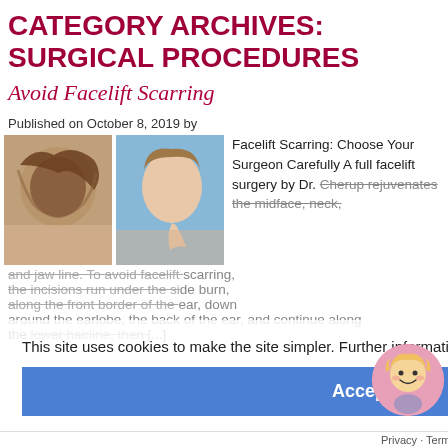CATEGORY ARCHIVES: SURGICAL PROCEDURES
Avoid Facelift Scarring
Published on October 8, 2019 by
[Figure (photo): Two photos of a woman's face showing facelift before/after, one showing curly hair from the back, one showing profile with blue background]
Facelift Scarring: Choose Your Surgeon Carefully A full facelift surgery by Dr. Cherup rejuvenates the midface, neck, and jaw line. To avoid facelift scarring, the incisions run under the sideburn, along the front border of the ear, down around the earlobe, the back of the ear, and continue along the lower hairline, then [...]
This site uses cookies to make the site simpler. Further information is provided in our  Privacy Policy
Accept
Privacy · Terms